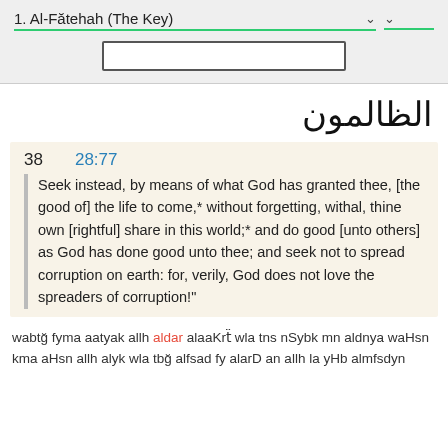1. Al-Fătehah (The Key)
[Figure (screenshot): Search input box (empty text field)]
الظالمون
38   28:77
Seek instead, by means of what God has granted thee, [the good of] the life to come,* without forgetting, withal, thine own [rightful] share in this world;* and do good [unto others] as God has done good unto thee; and seek not to spread corruption on earth: for, verily, God does not love the spreaders of corruption!"
wabtğ fyma aatyak allh aldar alaaKrẗ wla tns nSybk mn aldnya waHsn kma aHsn allh alyk wla tbğ alfsad fy alarD an allh la yHb almfsdyn